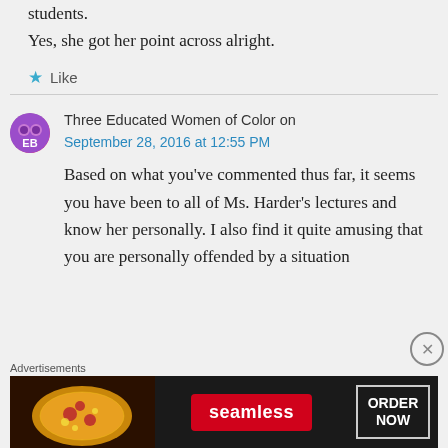students.
Yes, she got her point across alright.
★ Like
Three Educated Women of Color on
September 28, 2016 at 12:55 PM
Based on what you've commented thus far, it seems you have been to all of Ms. Harder's lectures and know her personally. I also find it quite amusing that you are personally offended by a situation
Advertisements
[Figure (other): Seamless food delivery advertisement banner showing pizza image, Seamless logo, and ORDER NOW button]